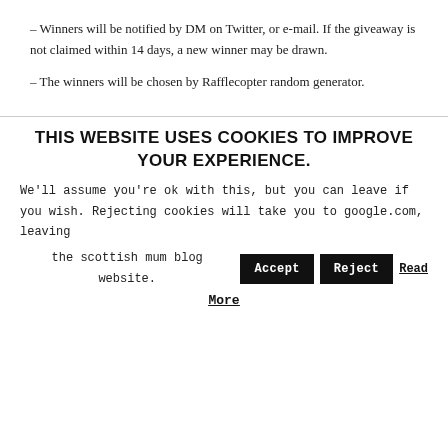– Winners will be notified by DM on Twitter, or e-mail. If the giveaway is not claimed within 14 days, a new winner may be drawn.
– The winners will be chosen by Rafflecopter random generator.
THIS WEBSITE USES COOKIES TO IMPROVE YOUR EXPERIENCE.
We'll assume you're ok with this, but you can leave if you wish. Rejecting cookies will take you to google.com, leaving the scottish mum blog website. Accept Reject Read More